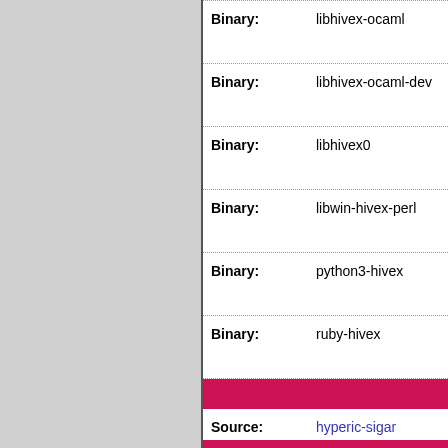| Field | Value |
| --- | --- |
| Binary: | libhivex-ocaml |
| Binary: | libhivex-ocaml-dev |
| Binary: | libhivex0 |
| Binary: | libwin-hivex-perl |
| Binary: | python3-hivex |
| Binary: | ruby-hivex |
| Source: | hyperic-sigar |
| Maintainer: | Debian Java Main... |
| Uploaders: | Hilko Bengen <be... |
| Binary: | libhyperic-sigar-java |